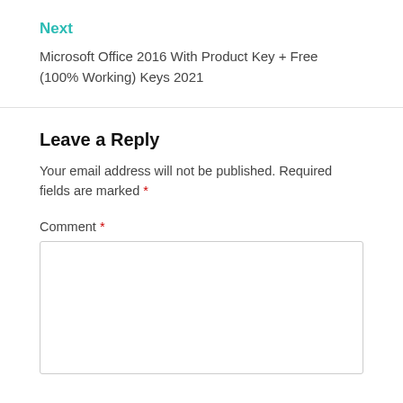Next
Microsoft Office 2016 With Product Key + Free (100% Working) Keys 2021
Leave a Reply
Your email address will not be published. Required fields are marked *
Comment *